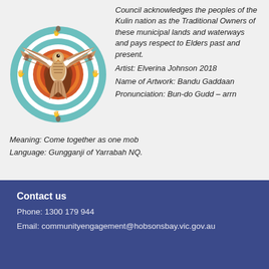[Figure (illustration): Indigenous Australian artwork showing a bird (eagle/brolga) with wings spread, surrounded by circular rainbow/concentric ring patterns with handprints, in brown, red, orange, white, and teal colours. Artwork by Elverina Johnson 2018, titled Bandu Gaddaan.]
Council acknowledges the peoples of the Kulin nation as the Traditional Owners of these municipal lands and waterways and pays respect to Elders past and present. Artist: Elverina Johnson 2018 Name of Artwork: Bandu Gaddaan Pronunciation: Bun-do Gudd – arrn
Meaning: Come together as one mob
Language: Gungganji of Yarrabah NQ.
Contact us
Phone: 1300 179 944
Email: communityengagement@hobsonsbay.vic.gov.au